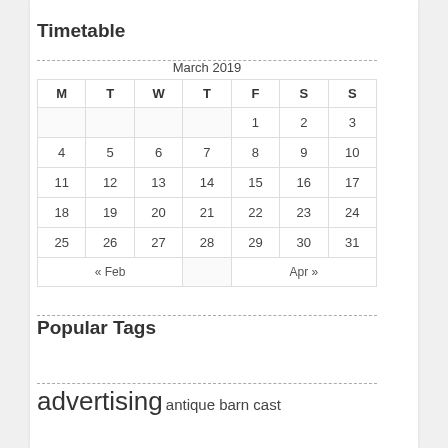Timetable
| M | T | W | T | F | S | S |
| --- | --- | --- | --- | --- | --- | --- |
|  |  |  |  | 1 | 2 | 3 |
| 4 | 5 | 6 | 7 | 8 | 9 | 10 |
| 11 | 12 | 13 | 14 | 15 | 16 | 17 |
| 18 | 19 | 20 | 21 | 22 | 23 | 24 |
| 25 | 26 | 27 | 28 | 29 | 30 | 31 |
| « Feb |  |  |  | Apr » |  |  |
Popular Tags
advertising antique barn cast